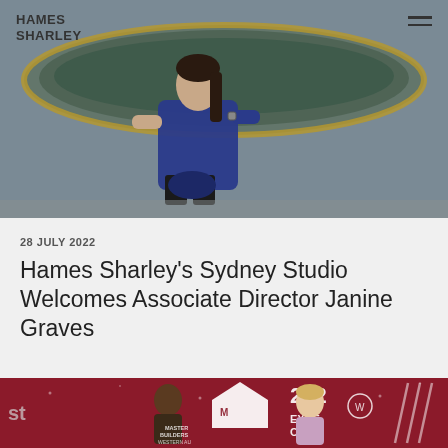[Figure (photo): Woman in blue dress seated near a circular water feature/fountain, photographed outdoors]
Hames Sharley
28 JULY 2022
Hames Sharley’s Sydney Studio Welcomes Associate Director Janine Graves
[Figure (photo): Two people standing in front of a red background with awards event signage reading '2022 EXCELLENCE CONS...' and 'Master Builders Western Australia' logo; a man and a woman smiling]